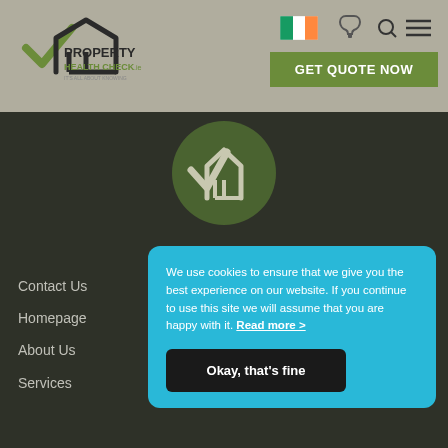[Figure (logo): Property Health Check.ie logo with green checkmark and house icon, text reads PROPERTY HEALTH CHECK.ie IT'S ALL ABOUT KNOWING]
[Figure (logo): Irish tricolor flag icon]
[Figure (logo): Phone icon]
[Figure (logo): Search and hamburger menu icons]
GET QUOTE NOW
[Figure (logo): Green circle with Property Health Check house/checkmark logo emblem in center]
Contact Us
Homepage
About Us
Services
We use cookies to ensure that we give you the best experience on our website. If you continue to use this site we will assume that you are happy with it. Read more >
Okay, that's fine